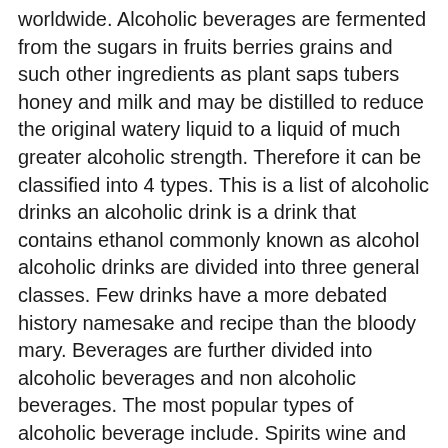worldwide. Alcoholic beverages are fermented from the sugars in fruits berries grains and such other ingredients as plant saps tubers honey and milk and may be distilled to reduce the original watery liquid to a liquid of much greater alcoholic strength. Therefore it can be classified into 4 types. This is a list of alcoholic drinks an alcoholic drink is a drink that contains ethanol commonly known as alcohol alcoholic drinks are divided into three general classes. Few drinks have a more debated history namesake and recipe than the bloody mary. Beverages are further divided into alcoholic beverages and non alcoholic beverages. The most popular types of alcoholic beverage include. Spirits wine and beer are the three major types of alcoholic beverages each of which come in many varieties.
RELATED POSTS : > macallan fine oak 18 macallan estate reserve 1824 collection macallan promotionlaimed 2018